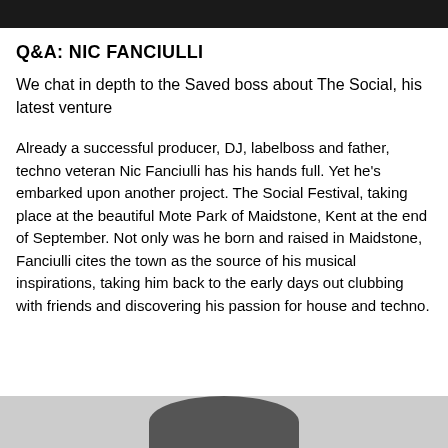[Figure (photo): Dark banner image at top of page, partially cropped]
Q&A: NIC FANCIULLI
We chat in depth to the Saved boss about The Social, his latest venture
Already a successful producer, DJ, labelboss and father, techno veteran Nic Fanciulli has his hands full. Yet he's embarked upon another project. The Social Festival, taking place at the beautiful Mote Park of Maidstone, Kent at the end of September. Not only was he born and raised in Maidstone, Fanciulli cites the town as the source of his musical inspirations, taking him back to the early days out clubbing with friends and discovering his passion for house and techno.
[Figure (photo): Bottom of page showing top of person's head/hair, partially cropped]